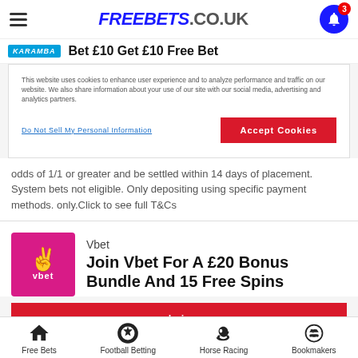FREEBETS.CO.UK
Bet £10 Get £10 Free Bet
This website uses cookies to enhance user experience and to analyze performance and traffic on our website. We also share information about your use of our site with our social media, advertising and analytics partners.
Do Not Sell My Personal Information | Accept Cookies
odds of 1/1 or greater and be settled within 14 days of placement. System bets not eligible. Only depositing using specific payment methods. only.Click to see full T&Cs
Vbet
Join Vbet For A £20 Bonus Bundle And 15 Free Spins
claim
Free Bets | Football Betting | Horse Racing | Bookmakers